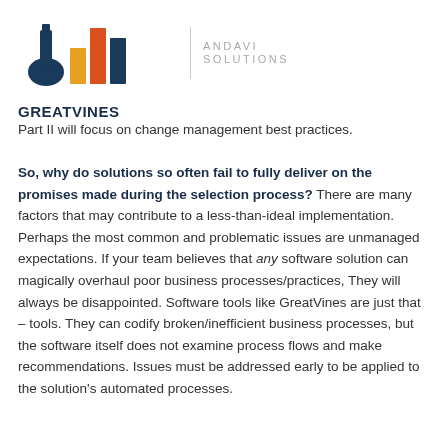[Figure (logo): GreatVines and Andavi Solutions logo with bar chart icon and bottle silhouette]
Part II will focus on change management best practices.
So, why do solutions so often fail to fully deliver on the promises made during the selection process? There are many factors that may contribute to a less-than-ideal implementation. Perhaps the most common and problematic issues are unmanaged expectations. If your team believes that any software solution can magically overhaul poor business processes/practices, They will always be disappointed. Software tools like GreatVines are just that – tools. They can codify broken/inefficient business processes, but the software itself does not examine process flows and make recommendations. Issues must be addressed early to be applied to the solution's automated processes.